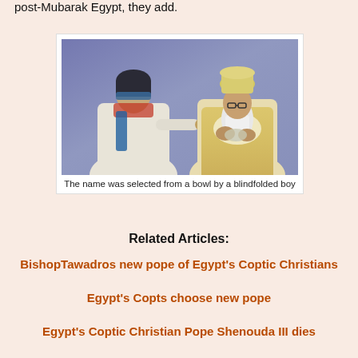post-Mubarak Egypt, they add.
[Figure (photo): A blindfolded boy reaching toward an elderly religious figure in ornate vestments, apparently selecting a name from a bowl during a Coptic Christian papal selection ceremony.]
The name was selected from a bowl by a blindfolded boy
Related Articles:
BishopTawadros new pope of Egypt's Coptic Christians
Egypt's Copts choose new pope
Egypt's Coptic Christian Pope Shenouda III dies